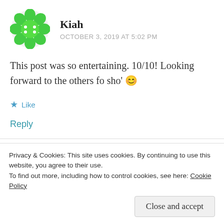[Figure (illustration): Green flower/snowflake decorative avatar icon for user Kiah]
Kiah
OCTOBER 3, 2019 AT 5:02 PM
This post was so entertaining. 10/10! Looking forward to the others fo sho' 😊
★ Like
Reply
[Figure (illustration): Partially visible red and dark avatar for next commenter Sham...]
Sham...
Privacy & Cookies: This site uses cookies. By continuing to use this website, you agree to their use.
To find out more, including how to control cookies, see here: Cookie Policy
Close and accept